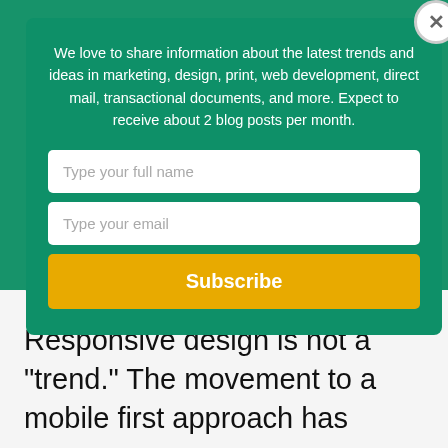and creating experiences that make using their product or services easier to use.
Responsive design is not a "trend." The movement to a mobile first approach has
[Figure (screenshot): A modal popup with teal/green background. Contains descriptive text about sharing blog posts, two input fields (full name and email), and a yellow Subscribe button. A white circular close button (×) is in the top-right corner.]
We love to share information about the latest trends and ideas in marketing, design, print, web development, direct mail, transactional documents, and more. Expect to receive about 2 blog posts per month.